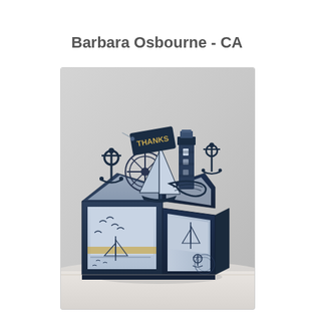Barbara Osbourne - CA
[Figure (photo): A nautical-themed explosion box craft made from navy blue cardstock. The box has panels decorated with stamped sailboat and seagull images. The open top reveals pop-up 3D die-cut nautical elements including anchors, a sailboat, a lighthouse, rope, and a tag that reads 'THANKS'. The box sits on a white surface against a light gray background.]